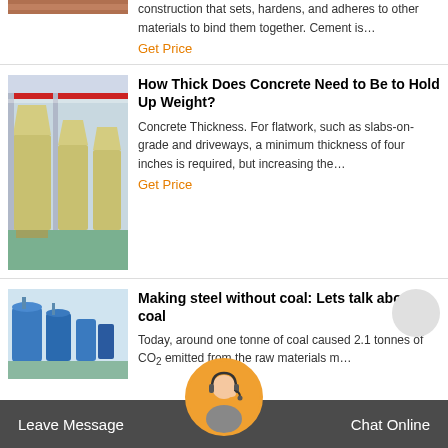construction that sets, hardens, and adheres to other materials to bind them together. Cement is…
Get Price
How Thick Does Concrete Need to Be to Hold Up Weight?
Concrete Thickness. For flatwork, such as slabs-on-grade and driveways, a minimum thickness of four inches is required, but increasing the…
Get Price
Making steel without coal: Lets talk about coal
Today, around one tonne of coal caused 2.1 tonnes of CO 2 emitted from the raw materials m…
Leave Message
Chat Online